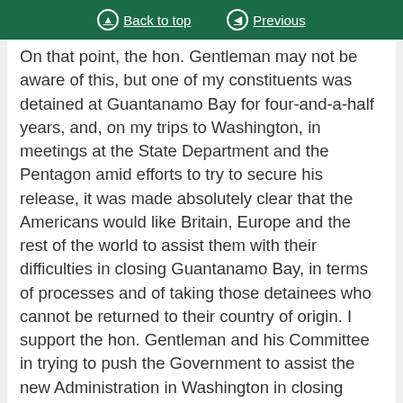Back to top | Previous
On that point, the hon. Gentleman may not be aware of this, but one of my constituents was detained at Guantanamo Bay for four-and-a-half years, and, on my trips to Washington, in meetings at the State Department and the Pentagon amid efforts to try to secure his release, it was made absolutely clear that the Americans would like Britain, Europe and the rest of the world to assist them with their difficulties in closing Guantanamo Bay, in terms of processes and of taking those detainees who cannot be returned to their country of origin. I support the hon. Gentleman and his Committee in trying to push the Government to assist the new Administration in Washington in closing Guantanamo Bay and in ending what is a stain on American legal history.